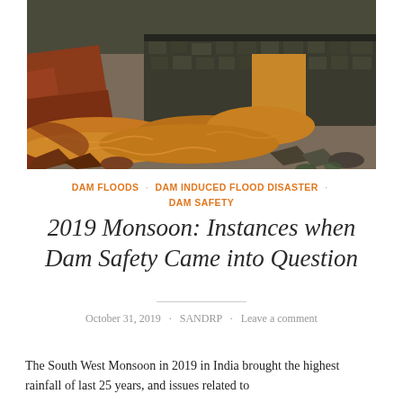[Figure (photo): Flood damage photo showing murky brown-orange water rushing through a broken stone/masonry dam structure with red laterite soil banks and dark rocky debris]
DAM FLOODS · DAM INDUCED FLOOD DISASTER · DAM SAFETY
2019 Monsoon: Instances when Dam Safety Came into Question
October 31, 2019 · SANDRP · Leave a comment
The South West Monsoon in 2019 in India brought the highest rainfall of last 25 years, and issues related to